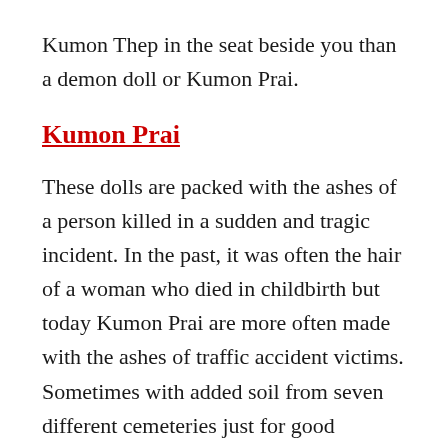Kumon Thep in the seat beside you than a demon doll or Kumon Prai.
Kumon Prai
These dolls are packed with the ashes of a person killed in a sudden and tragic incident. In the past, it was often the hair of a woman who died in childbirth but today Kumon Prai are more often made with the ashes of traffic accident victims. Sometimes with added soil from seven different cemeteries just for good measure.